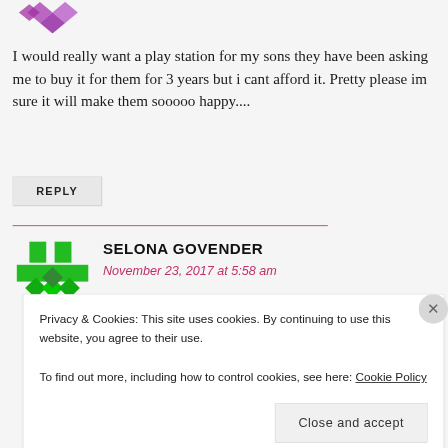[Figure (illustration): Purple geometric/diamond avatar icon at top left]
I would really want a play station for my sons they have been asking me to buy it for them for 3 years but i cant afford it. Pretty please im sure it will make them sooooo happy....
REPLY
SELONA GOVENDER
November 23, 2017 at 5:58 am
[Figure (illustration): Green geometric avatar icon for Selona Govender]
Privacy & Cookies: This site uses cookies. By continuing to use this website, you agree to their use.
To find out more, including how to control cookies, see here: Cookie Policy
Close and accept